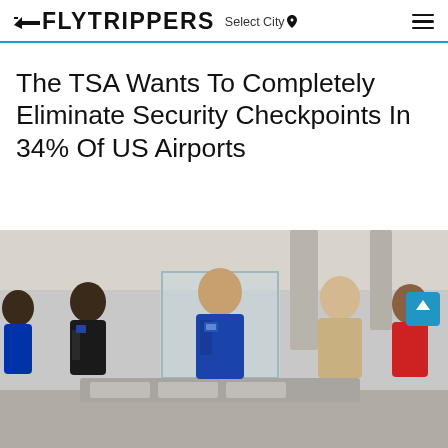FLYTRIPPERS Select City
The TSA Wants To Completely Eliminate Security Checkpoints In 34% Of US Airports
[Figure (photo): TSA security checkpoint at a US airport. TSA agents in blue uniforms are screening passengers, with grey plastic bins stacked on a conveyor belt in the foreground.]